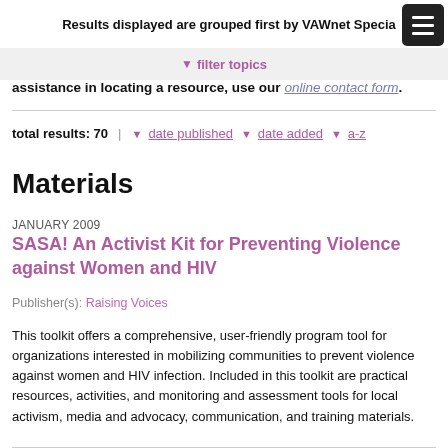Results displayed are grouped first by VAWnet Specia...
▼ filter topics
assistance in locating a resource, use our online contact form.
total results: 70  |  ↓ date published  ↓ date added  ↓ a-z
Materials
JANUARY 2009
SASA! An Activist Kit for Preventing Violence against Women and HIV
Publisher(s):  Raising Voices
This toolkit offers a comprehensive, user-friendly program tool for organizations interested in mobilizing communities to prevent violence against women and HIV infection. Included in this toolkit are practical resources, activities, and monitoring and assessment tools for local activism, media and advocacy, communication, and training materials.